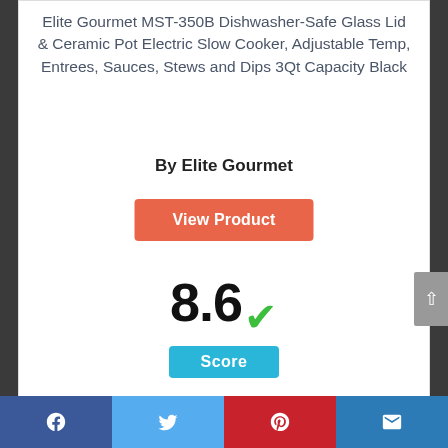Elite Gourmet MST-350B Dishwasher-Safe Glass Lid & Ceramic Pot Electric Slow Cooker, Adjustable Temp, Entrees, Sauces, Stews and Dips 3Qt Capacity Black
By Elite Gourmet
View Product
8.6 Score
Facebook | Twitter | Pinterest | Email